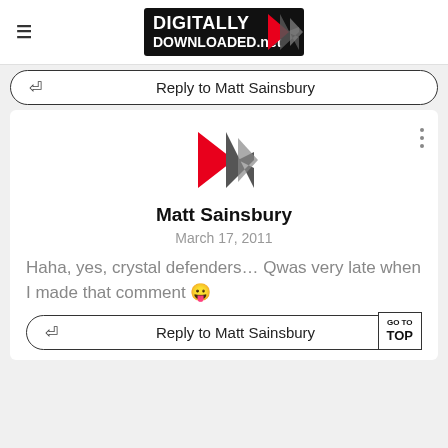DIGITALLY DOWNLOADED.net
Reply to Matt Sainsbury
[Figure (logo): Digitally Downloaded logo icon - red play button with grey chevron arrows]
Matt Sainsbury
March 17, 2011
Haha, yes, crystal defenders... Qwas very late when I made that comment 😛
Reply to Matt Sainsbury